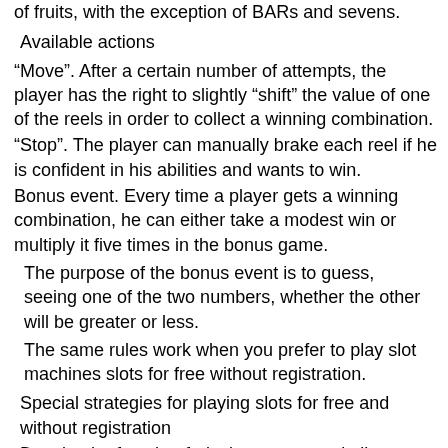of fruits, with the exception of BARs and sevens.
Available actions
"Move". After a certain number of attempts, the player has the right to slightly "shift" the value of one of the reels in order to collect a winning combination.
"Stop". The player can manually brake each reel if he is confident in his abilities and wants to win.
Bonus event. Every time a player gets a winning combination, he can either take a modest win or multiply it five times in the bonus game.
The purpose of the bonus event is to guess, seeing one of the two numbers, whether the other will be greater or less.
The same rules work when you prefer to play slot machines slots for free without registration.
Special strategies for playing slots for free and without registration
Despite the fact that fruit slots are very similar to Canadian ones, the game mechanics are somewhat different. For